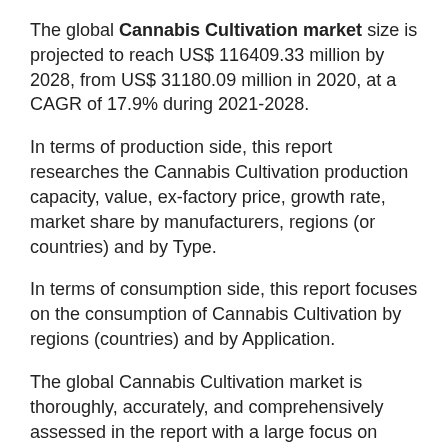The global Cannabis Cultivation market size is projected to reach US$ 116409.33 million by 2028, from US$ 31180.09 million in 2020, at a CAGR of 17.9% during 2021-2028.
In terms of production side, this report researches the Cannabis Cultivation production capacity, value, ex-factory price, growth rate, market share by manufacturers, regions (or countries) and by Type.
In terms of consumption side, this report focuses on the consumption of Cannabis Cultivation by regions (countries) and by Application.
The global Cannabis Cultivation market is thoroughly, accurately, and comprehensively assessed in the report with a large focus on market dynamics, market competition, regional growth, segmental analysis, and key growth strategies. Buyers of the report will have access to verified